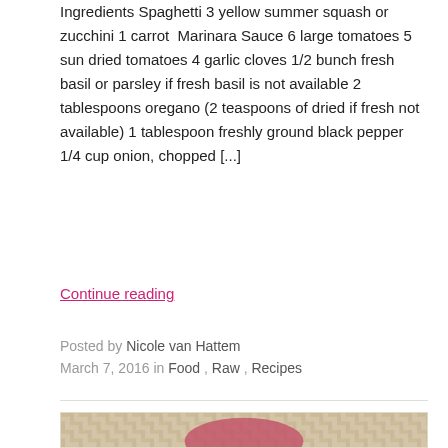Ingredients Spaghetti 3 yellow summer squash or zucchini 1 carrot  Marinara Sauce 6 large tomatoes 5 sun dried tomatoes 4 garlic cloves 1/2 bunch fresh basil or parsley if fresh basil is not available 2 tablespoons oregano (2 teaspoons of dried if fresh not available) 1 tablespoon freshly ground black pepper 1/4 cup onion, chopped [...]
Continue reading
Posted by Nicole van Hattem March 7, 2016 in Food , Raw , Recipes
[Figure (photo): Partial view of a photo showing what appears to be a bowl or dish on a woven/rattan surface, cropped at the bottom of the page]